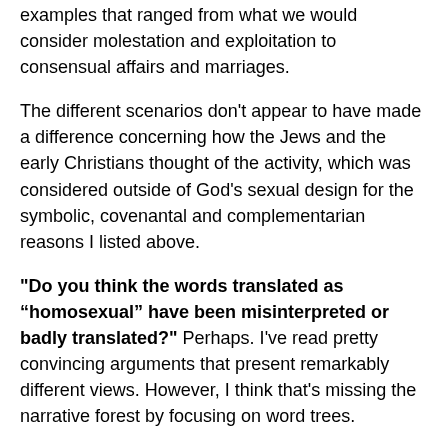examples that ranged from what we would consider molestation and exploitation to consensual affairs and marriages.
The different scenarios don't appear to have made a difference concerning how the Jews and the early Christians thought of the activity, which was considered outside of God's sexual design for the symbolic, covenantal and complementarian reasons I listed above.
"Do you think the words translated as “homosexual” have been misinterpreted or badly translated?" Perhaps. I’ve read pretty convincing arguments that present remarkably different views. However, I think that’s missing the narrative forest by focusing on word trees.
What did the practice of the Jewish people and the early church reveal about their view of same-sex activity? The Talmud was clear on its prohibition of the activity, though (no surprise) it does not address what we would consider orientation. [28]  Tertullian, in his famous Apology, wrote, “The Christian [man] confines himself to the female sex